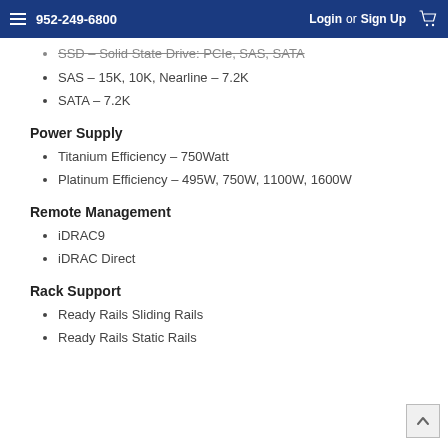952-249-6800   Login or Sign Up
SSD – Solid State Drive: PCIe, SAS, SATA
SAS – 15K, 10K, Nearline – 7.2K
SATA – 7.2K
Power Supply
Titanium Efficiency – 750Watt
Platinum Efficiency – 495W, 750W, 1100W, 1600W
Remote Management
iDRAC9
iDRAC Direct
Rack Support
Ready Rails Sliding Rails
Ready Rails Static Rails